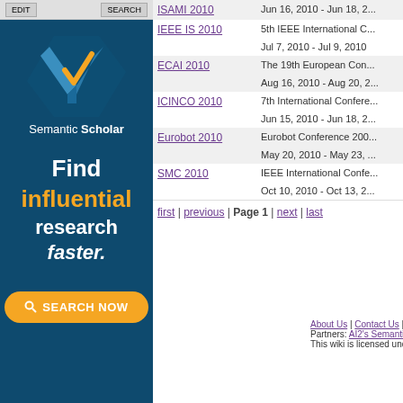[Figure (logo): Semantic Scholar logo with blue/teal chevron and yellow checkmark, white text 'Semantic Scholar']
Find influential research faster.
SEARCH NOW
| Conference | Details |
| --- | --- |
| ISAMI 2010 | Jun 16, 2010 - Jun 18, 2... |
| IEEE IS 2010 | 5th IEEE International C...
Jul 7, 2010 - Jul 9, 2010 |
| ECAI 2010 | The 19th European Con...
Aug 16, 2010 - Aug 20, 2... |
| ICINCO 2010 | 7th International Confere...
Jun 15, 2010 - Jun 18, 2... |
| Eurobot 2010 | Eurobot Conference 200...
May 20, 2010 - May 23, ... |
| SMC 2010 | IEEE International Confe...
Oct 10, 2010 - Oct 13, 2... |
first | previous | Page 1 | next | last
About Us | Contact Us | Data | Privacy Policy | Terms an...
Partners: AI2's Semantic Scholar
This wiki is licensed under a Creative Commons Attribu...